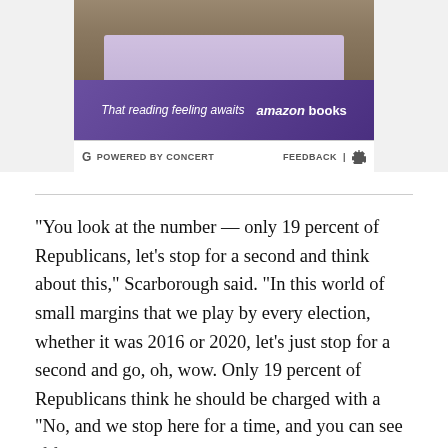[Figure (photo): Advertisement for Amazon Books showing a woman reading a purple book with text 'That reading feeling awaits' and 'amazon books' on a purple background.]
POWERED BY CONCERT   FEEDBACK | ⚙
"You look at the number — only 19 percent of Republicans, let's stop for a second and think about this," Scarborough said. "In this world of small margins that we play by every election, whether it was 2016 or 2020, let's just stop for a second and go, oh, wow. Only 19 percent of Republicans think he should be charged with a crime and go to jail. That's one in five Republicans."
"No, and we stop here for a time, and you can see if f